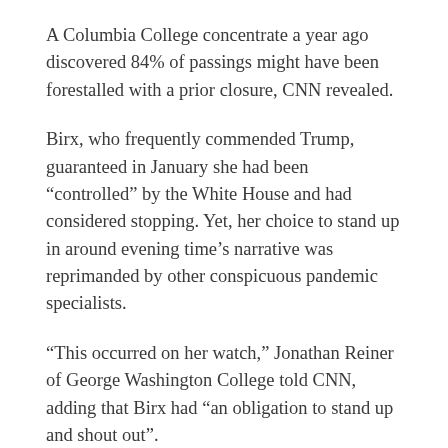A Columbia College concentrate a year ago discovered 84% of passings might have been forestalled with a prior closure, CNN revealed.
Birx, who frequently commended Trump, guaranteed in January she had been “controlled” by the White House and had considered stopping. Yet, her choice to stand up in around evening time’s narrative was reprimanded by other conspicuous pandemic specialists.
“This occurred on her watch,” Jonathan Reiner of George Washington College told CNN, adding that Birx had “an obligation to stand up and shout out”.
Birx additionally described that after last August she said freely that the infection was “uncommonly broad” and spreading in provincial zones, and on account of the “clearness that I achieved the pandemic” she was dependent upon “shocking pushback” from the White